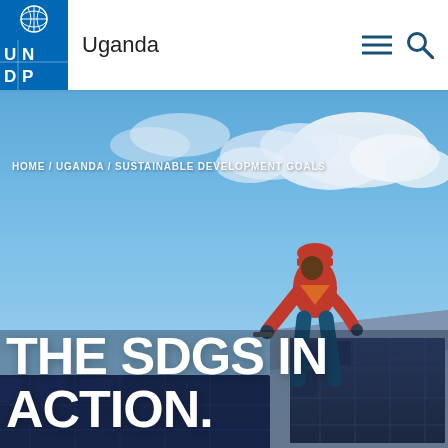UNDP Uganda
HOME / UGANDA / SUSTAINABLE DEVELOPMENT GOALS
[Figure (photo): A worker in a red hard hat and red jacket bending over solar panels on a rooftop against a bright blue sky with clouds, illustrating the SDGs in action.]
THE SDGS IN ACTION.